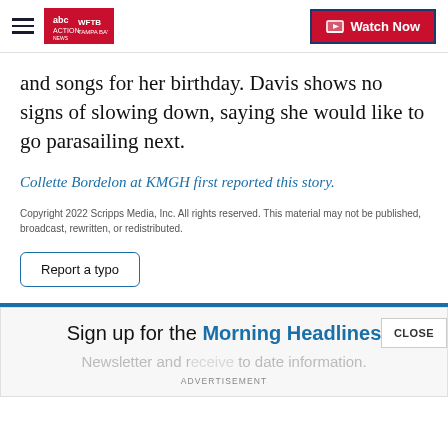WFTB Tampa Bay — Watch Now
and songs for her birthday. Davis shows no signs of slowing down, saying she would like to go parasailing next.
Collette Bordelon at KMGH first reported this story.
Copyright 2022 Scripps Media, Inc. All rights reserved. This material may not be published, broadcast, rewritten, or redistributed.
Report a typo
Sign up for the Morning Headlines
Newsletter and r... to date information.
ADVERTISEMENT